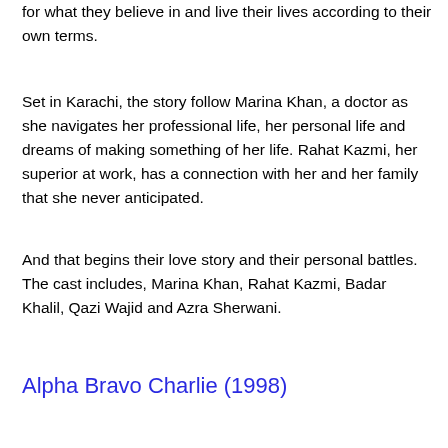for what they believe in and live their lives according to their own terms.
Set in Karachi, the story follow Marina Khan, a doctor as she navigates her professional life, her personal life and dreams of making something of her life. Rahat Kazmi, her superior at work, has a connection with her and her family that she never anticipated.
And that begins their love story and their personal battles. The cast includes, Marina Khan, Rahat Kazmi, Badar Khalil, Qazi Wajid and Azra Sherwani.
Alpha Bravo Charlie (1998)